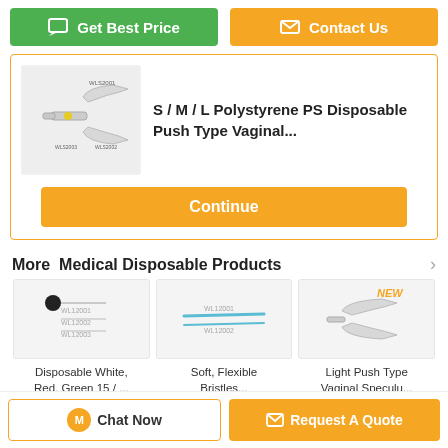[Figure (screenshot): UI buttons: green 'Get Best Price' and orange 'Contact Us']
[Figure (photo): Product image of polystyrene disposable push type vaginal speculum, labeled WLS2001, WLS2003, WLS2002]
S / M / L Polystyrene PS Disposable Push Type Vaginal...
[Figure (other): Orange 'Continue' button]
More  Medical Disposable Products
[Figure (photo): Product thumbnail: Disposable White, Red, Green 15 / ...]
Disposable White, Red, Green 15 / ...
[Figure (photo): Product thumbnail: Soft, Flexible Bristles...]
Soft, Flexible Bristles...
[Figure (photo): Product thumbnail: Light Push Type Vaginal Speculu...]
Light Push Type Vaginal Speculu...
[Figure (screenshot): Bottom bar with Chat Now and Request A Quote buttons]